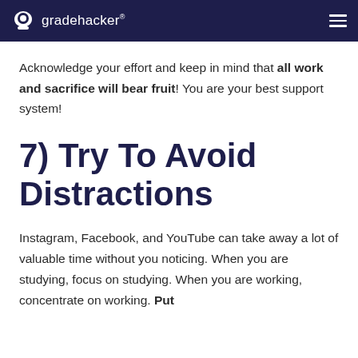gradehacker®
Acknowledge your effort and keep in mind that all work and sacrifice will bear fruit! You are your best support system!
7) Try To Avoid Distractions
Instagram, Facebook, and YouTube can take away a lot of valuable time without you noticing. When you are studying, focus on studying. When you are working, concentrate on working. Put